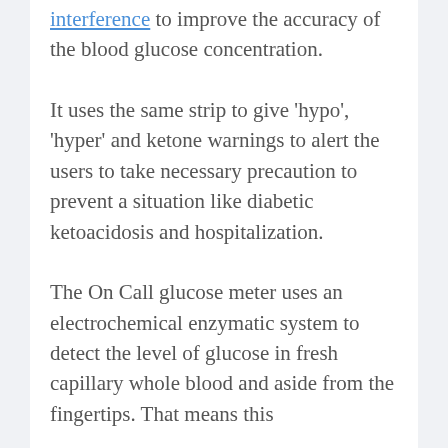interference to improve the accuracy of the blood glucose concentration.
It uses the same strip to give 'hypo', 'hyper' and ketone warnings to alert the users to take necessary precaution to prevent a situation like diabetic ketoacidosis and hospitalization.
The On Call glucose meter uses an electrochemical enzymatic system to detect the level of glucose in fresh capillary whole blood and aside from the fingertips. That means this